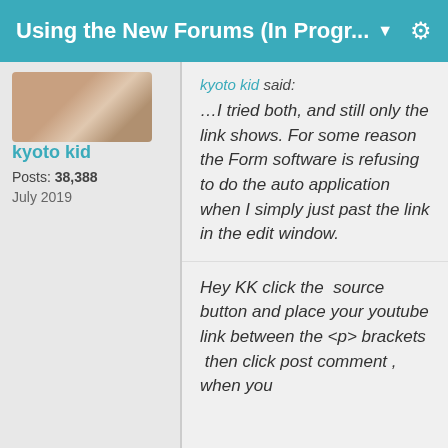Using the New Forums (In Progr... ▼
[Figure (photo): Avatar photo of a person with curly reddish hair]
kyoto kid
Posts: 38,388
July 2019
kyoto kid said: …I tried both, and still only the link shows. For some reason the Form software is refusing to do the auto application when I simply just past the link in the edit window.
Hey KK click the  source button and place your youtube link between the <p> brackets  then click post comment , when you